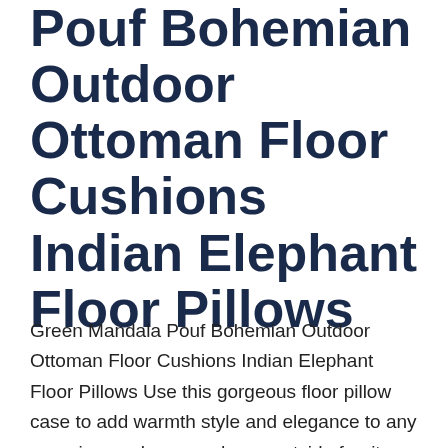Pouf Bohemian Outdoor Ottoman Floor Cushions Indian Elephant Floor Pillows
Green Mandala Pouf Bohemian Outdoor Ottoman Floor Cushions Indian Elephant Floor Pillows Use this gorgeous floor pillow case to add warmth style and elegance to any room in your home and as a outside furniture. Item Description Item- 1 PC Square Floor Pillow Cover Fabric - Cotton Fabric